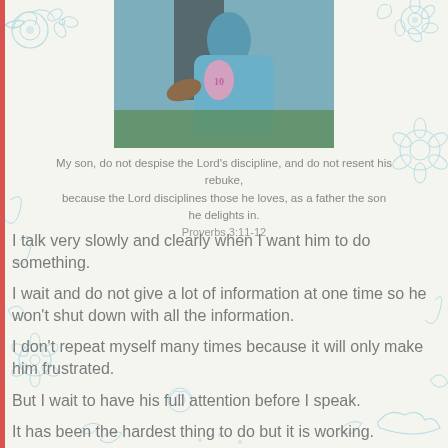[Figure (photo): Photo of a person carrying a child wrapped in a blue cloth/sling, outdoors]
My son, do not despise the Lord's discipline, and do not resent his rebuke, because the Lord disciplines those he loves, as a father the son he delights in. Proverbs 3:11-12
I talk very slowly and clearly when I want him to do something.
I wait and do not give a lot of information at one time so he won't shut down with all the information.
I don't repeat myself many times because it will only make him frustrated.
But I wait to have his full attention before I speak.
It has been the hardest thing to do but it is working.
I guess moms do know the best, even if they think they don't know it :)